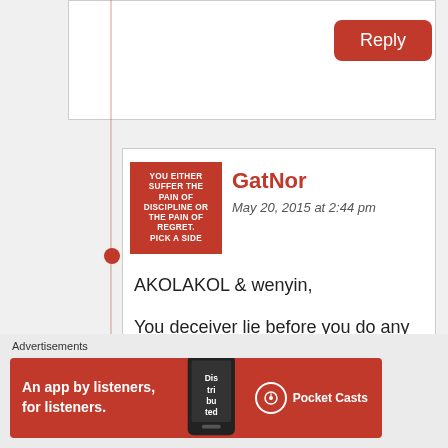[Figure (screenshot): Reply button in top right of comment box]
GatNor
May 20, 2015 at 2:44 pm
AKOLAKOL & wenyin,

You deceiver lie before you do any more of that read this (John 18:10). This man according to the bible acted in self defense. His name is forever a living testimony to courage in times of oppression
Advertisements
[Figure (screenshot): Pocket Casts advertisement banner: An app by listeners, for listeners.]